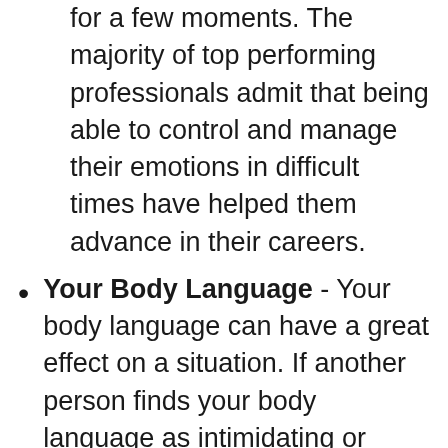for a few moments. The majority of top performing professionals admit that being able to control and manage their emotions in difficult times have helped them advance in their careers.
Your Body Language - Your body language can have a great effect on a situation. If another person finds your body language as intimidating or confrontational, it will do little to defuse the situation. Use positive body and language, and if you find yourself in a heated situation with another co-worker, change the environment in order to change your body language into a more positive tone.